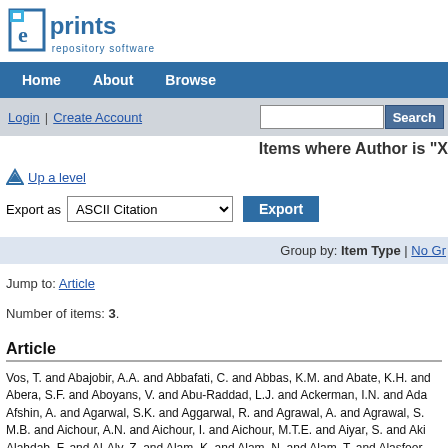eprints repository software
Home | About | Browse
Login | Create Account [Search]
Items where Author is "X
Up a level
Export as ASCII Citation Export
Group by: Item Type | No Gr
Jump to: Article
Number of items: 3.
Article
Vos, T. and Abajobir, A.A. and Abbafati, C. and Abbas, K.M. and Abate, K.H. and Abera, S.F. and Aboyans, V. and Abu-Raddad, L.J. and Ackerman, I.N. and Ada Afshin, A. and Agarwal, S.K. and Aggarwal, R. and Agrawal, A. and Agrawal, S. M.B. and Aichour, A.N. and Aichour, I. and Aichour, M.T.E. and Aiyar, S. and Aki Alahdab, F. and Al-Aly, Z. and Alam, K. and Alam, N. and Alam, T. and Alasfoor,